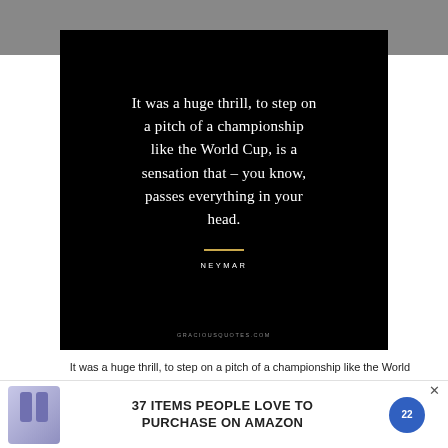[Figure (illustration): Black background quote card with white serif text reading 'It was a huge thrill, to step on a pitch of a championship like the World Cup, is a sensation that – you know, passes everything in your head.' with a gold horizontal rule, 'NEYMAR' attribution in small caps, and 'GRACIOUSQUOTES.COM' watermark at the bottom. The card is overlaid on a gray bar at the top.]
It was a huge thrill, to step on a pitch of a championship like the World Cup, is a sensation that – you know, passes everything in your head.
[Figure (infographic): Advertisement banner: product bottles on left, bold text '37 ITEMS PEOPLE LOVE TO PURCHASE ON AMAZON' in center, circular blue badge on right with an X close button.]